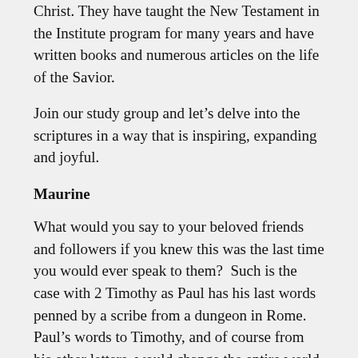Christ. They have taught the New Testament in the Institute program for many years and have written books and numerous articles on the life of the Savior.
Join our study group and let's delve into the scriptures in a way that is inspiring, expanding and joyful.
Maurine
What would you say to your beloved friends and followers if you knew this was the last time you would ever speak to them?  Such is the case with 2 Timothy as Paul has his last words penned by a scribe from a dungeon in Rome. Paul's words to Timothy, and of course from his other letters, would change the entire world.